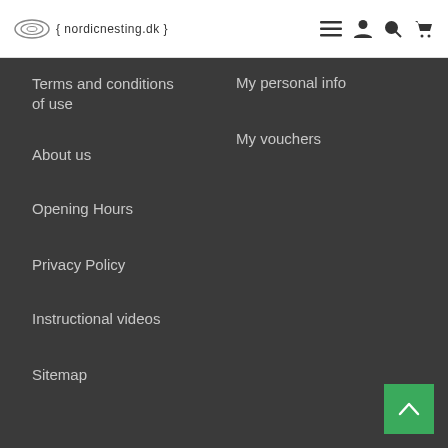nordicnesting.dk — navigation header with logo, menu, user, search, cart icons
Terms and conditions of use
About us
Opening Hours
Privacy Policy
Instructional videos
Sitemap
My personal info
My vouchers